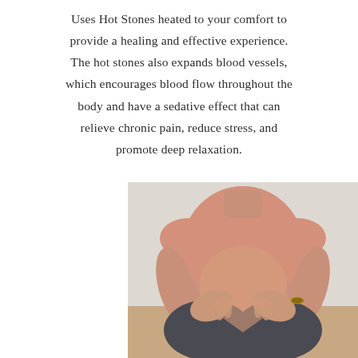Uses Hot Stones heated to your comfort to provide a healing and effective experience. The hot stones also expands blood vessels, which encourages blood flow throughout the body and have a sedative effect that can relieve chronic pain, reduce stress, and promote deep relaxation.
[Figure (photo): A pregnant woman in a pink sleeveless top and dark pants sitting cross-legged, holding her baby bump with both hands forming a heart shape around her belly.]